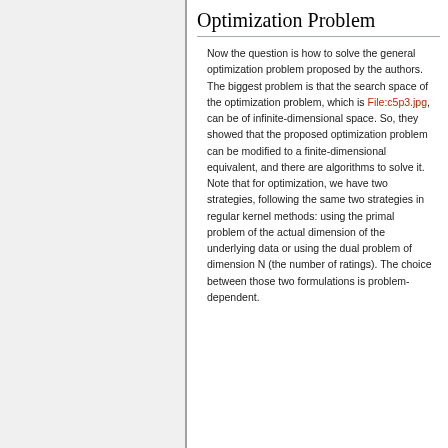Optimization Problem
Now the question is how to solve the general optimization problem proposed by the authors. The biggest problem is that the search space of the optimization problem, which is File:c5p3.jpg, can be of infinite-dimensional space. So, they showed that the proposed optimization problem can be modified to a finite-dimensional equivalent, and there are algorithms to solve it. Note that for optimization, we have two strategies, following the same two strategies in regular kernel methods: using the primal problem of the actual dimension of the underlying data or using the dual problem of dimension N (the number of ratings). The choice between those two formulations is problem-dependent.